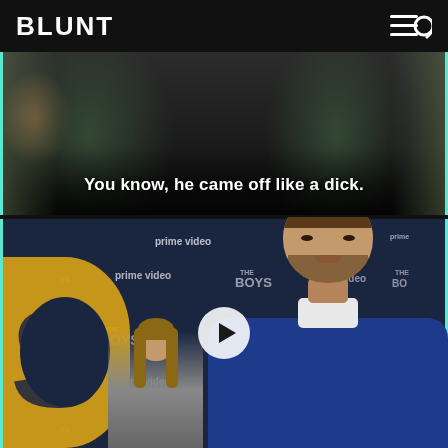BLUNT
[Figure (screenshot): Video screenshot showing a dark scene with blurred figures in background, white subtitle text reading 'You know, he came off like a dick.']
[Figure (photo): Photo of a bearded man in a blue jacket at The Boys Prime Video premiere event backdrop. A woman is visible in the background. A play button overlay is visible in the center.]